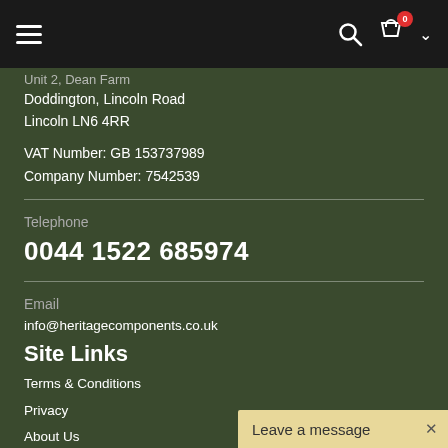Navigation bar with hamburger menu, search icon, cart (0 items), and dropdown chevron
Unit 2, Dean Farm
Doddington, Lincoln Road
Lincoln LN6 4RR
VAT Number: GB 153737989
Company Number: 7542539
Telephone
0044 1522 685974
Email
info@heritagecomponents.co.uk
Site Links
Terms & Conditions
Privacy
About Us
Leave a message ×